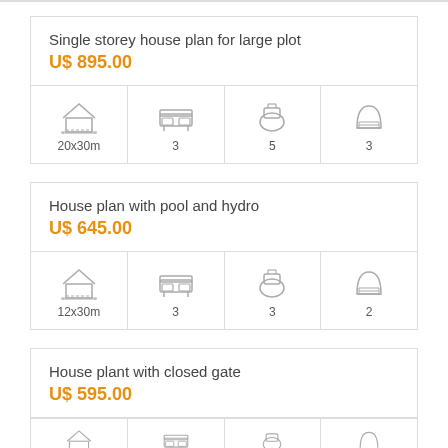Single storey house plan for large plot
U$ 895.00
20x30m | 3 | 5 | 3
House plan with pool and hydro
U$ 645.00
12x30m | 3 | 3 | 2
House plant with closed gate
U$ 595.00